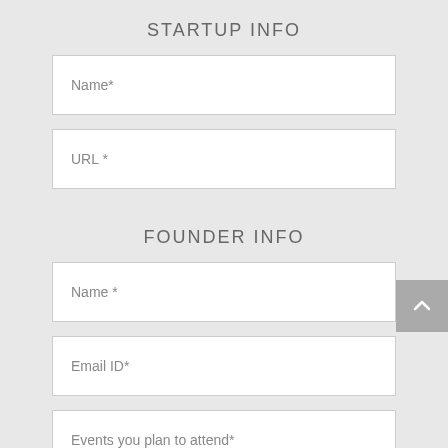STARTUP INFO
Name*
URL *
FOUNDER INFO
Name *
Email ID*
Events you plan to attend*
Tell us more